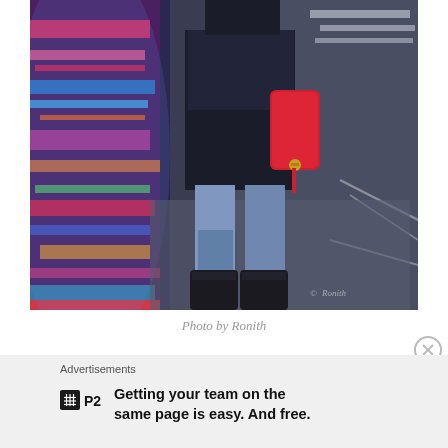[Figure (photo): A person walking near a colorful graffiti wall, wearing a dark jacket, light blue jeans, dark boots, and carrying a red backpack. The sidewalk and road with white markings are visible. A copyright watermark reads '© Ronith' in the bottom right.]
Photo by Ronith
Advertisements
[Figure (logo): P2 logo — a small dark square with a grid icon followed by 'P2' in bold]
Getting your team on the same page is easy. And free.